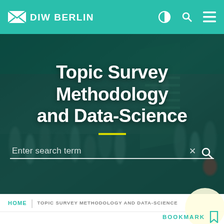DIW BERLIN — navigation bar with logo, contrast toggle, search, and menu icons
[Figure (photo): Blurred crowd of people in a busy transit station with escalators, overlaid with teal/dark green color tint]
Topic Survey Methodology and Data-Science
Enter search term
HOME | TOPIC SURVEY METHODOLOGY AND DATA-SCIENCE
BOOKMARK